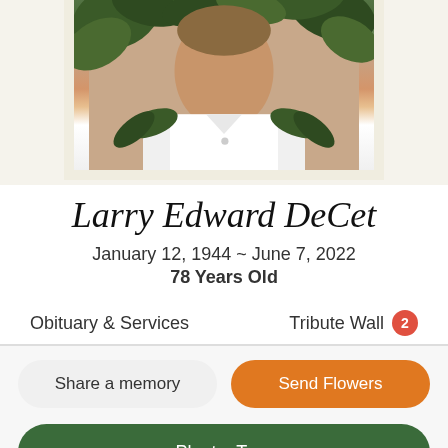[Figure (photo): Portrait photo of Larry Edward DeCet wearing a white shirt with a lei of green leaves around his neck, shown from shoulders up, with a cream/white frame border.]
Larry Edward DeCet
January 12, 1944 ~ June 7, 2022
78 Years Old
Obituary & Services
Tribute Wall 2
Share a memory
Send Flowers
Plant a Tree